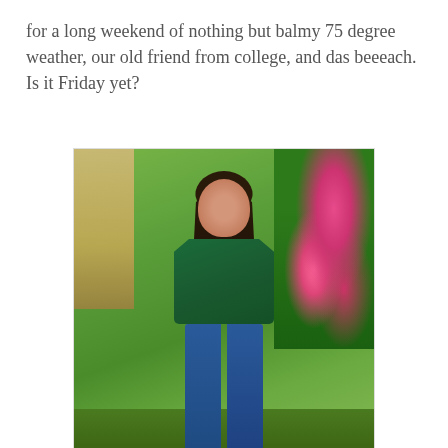for a long weekend of nothing but balmy 75 degree weather, our old friend from college, and das beeeach. Is it Friday yet?
[Figure (photo): A woman with long dark hair wearing a green cold-shoulder top and distressed blue jeans, standing outdoors in front of green bushes and pink flowers with a yellow house visible in the background.]